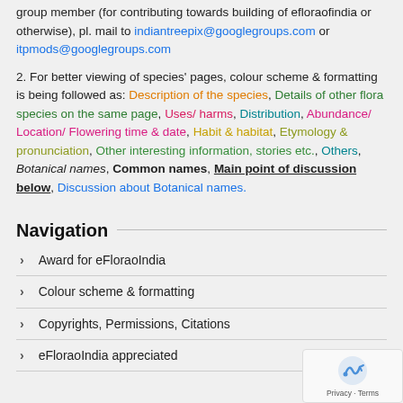group member (for contributing towards building of efloraofindia or otherwise), pl. mail to indiantreepix@googlegroups.com or itpmods@googlegroups.com
2. For better viewing of species' pages, colour scheme & formatting is being followed as: Description of the species, Details of other flora species on the same page, Uses/ harms, Distribution, Abundance/ Location/ Flowering time & date, Habit & habitat, Etymology & pronunciation, Other interesting information, stories etc., Others, Botanical names, Common names, Main point of discussion below, Discussion about Botanical names.
Navigation
Award for eFloraoIndia
Colour scheme & formatting
Copyrights, Permissions, Citations
eFloraoIndia appreciated